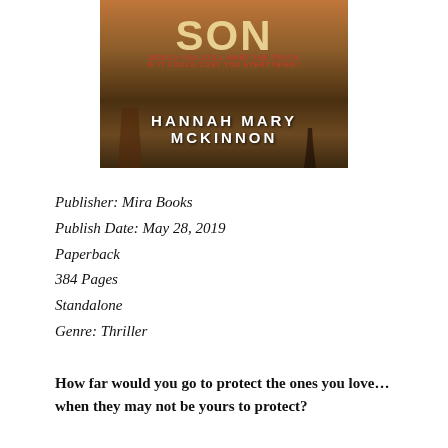[Figure (illustration): Book cover for a thriller novel by Hannah Mary McKinnon. The cover shows a warm sunset/dusk scene with silhouetted figures in a field. Text reads 'SON' at top, 'WOULD YOU STILL WANT THE TRUTH IF IT COULD COST YOU EVERYTHING?' in red, and 'HANNAH MARY MCKINNON' in large white letters.]
Publisher: Mira Books
Publish Date: May 28, 2019
Paperback
384 Pages
Standalone
Genre: Thriller
How far would you go to protect the ones you love…when they may not be yours to protect?